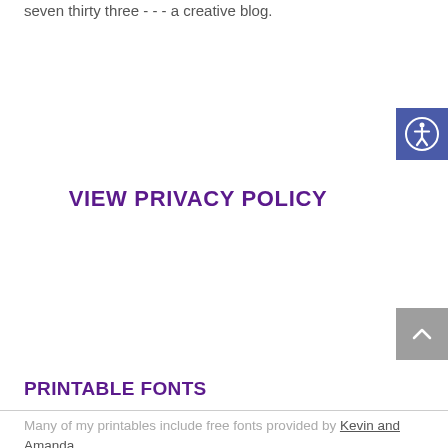seven thirty three - - - a creative blog.
[Figure (other): Blue accessibility icon button with person/wheelchair symbol]
VIEW PRIVACY POLICY
[Figure (other): Gray scroll-to-top button with upward caret arrow]
PRINTABLE FONTS
Many of my printables include free fonts provided by Kevin and Amanda